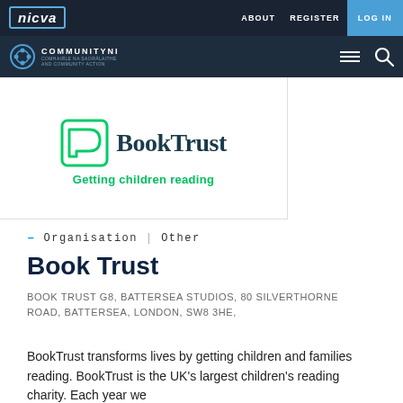nicva | ABOUT  REGISTER  LOG IN
COMMUNITYNI
[Figure (logo): BookTrust logo with icon and tagline 'Getting children reading']
– Organisation | Other
Book Trust
BOOK TRUST G8, BATTERSEA STUDIOS, 80 SILVERTHORNE ROAD, BATTERSEA, LONDON, SW8 3HE,
BookTrust transforms lives by getting children and families reading. BookTrust is the UK's largest children's reading charity. Each year we